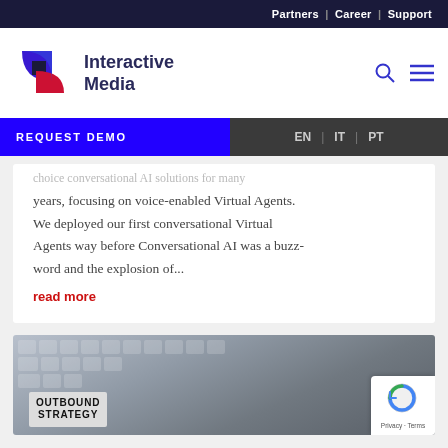Partners | Career | Support
[Figure (logo): Interactive Media logo with blue and red geometric shape]
REQUEST DEMO   EN | IT | PT
years, focusing on voice-enabled Virtual Agents. We deployed our first conversational Virtual Agents way before Conversational AI was a buzz-word and the explosion of...
read more
[Figure (photo): Keyboard in background with OUTBOUND STRATEGY text on a card in foreground]